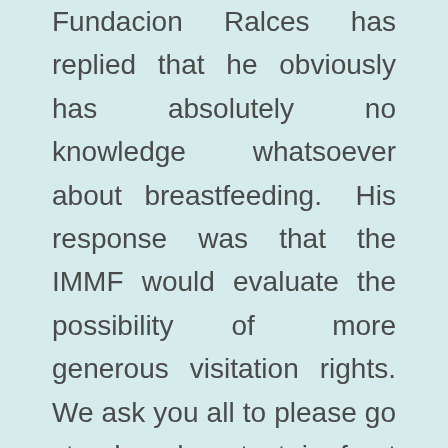Fundacion Ralces has replied that he obviously has absolutely no knowledge whatsoever about breastfeeding. His response was that the IMMF would evaluate the possibility of more generous visitation rights. We ask you all to please go stand and protest in front of the IMMF building right now to request that this institutional abuse upon